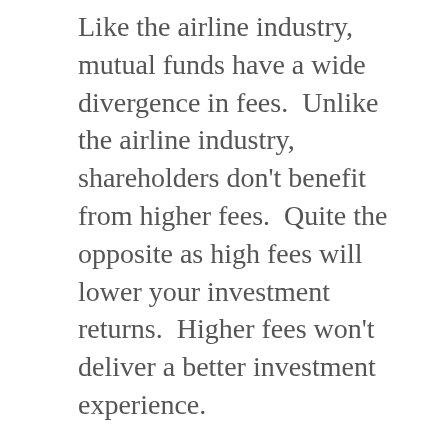Like the airline industry, mutual funds have a wide divergence in fees.  Unlike the airline industry, shareholders don't benefit from higher fees.  Quite the opposite as high fees will lower your investment returns.  Higher fees won't deliver a better investment experience.
Below are three funds with different fee structures listed from the highest fees to lowest.[1] The Dimensional Fund has the lowest fee and highest return.  Its fees are 90% lower than the Dreyfus fund.
Dreyfus Tax Managed Growth Fund Class C